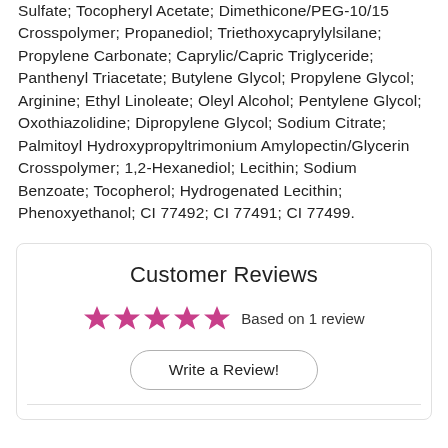Sulfate; Tocopheryl Acetate; Dimethicone/PEG-10/15 Crosspolymer; Propanediol; Triethoxycaprylylsilane; Propylene Carbonate; Caprylic/Capric Triglyceride; Panthenyl Triacetate; Butylene Glycol; Propylene Glycol; Arginine; Ethyl Linoleate; Oleyl Alcohol; Pentylene Glycol; Oxothiazolidine; Dipropylene Glycol; Sodium Citrate; Palmitoyl Hydroxypropyltrimonium Amylopectin/Glycerin Crosspolymer; 1,2-Hexanediol; Lecithin; Sodium Benzoate; Tocopherol; Hydrogenated Lecithin; Phenoxyethanol; CI 77492; CI 77491; CI 77499.
Customer Reviews
★★★★★ Based on 1 review
Write a Review!